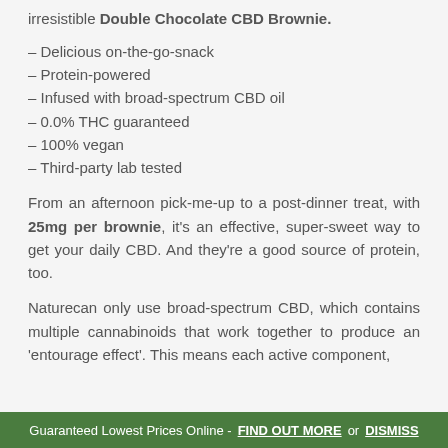irresistible Double Chocolate CBD Brownie.
– Delicious on-the-go-snack
– Protein-powered
– Infused with broad-spectrum CBD oil
– 0.0% THC guaranteed
– 100% vegan
– Third-party lab tested
From an afternoon pick-me-up to a post-dinner treat, with 25mg per brownie, it's an effective, super-sweet way to get your daily CBD. And they're a good source of protein, too.
Naturecan only use broad-spectrum CBD, which contains multiple cannabinoids that work together to produce an 'entourage effect'. This means each active component,
Guaranteed Lowest Prices Online - FIND OUT MORE or DISMISS